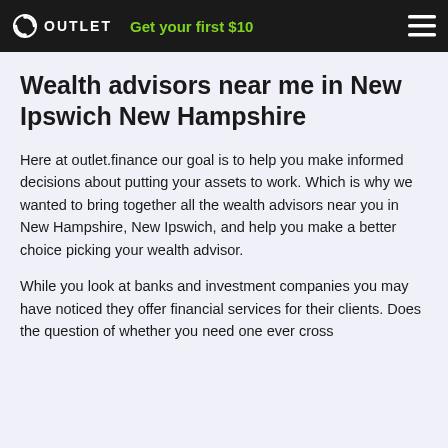OUTLET | Get your first $10
Wealth advisors near me in New Ipswich New Hampshire
Here at outlet.finance our goal is to help you make informed decisions about putting your assets to work. Which is why we wanted to bring together all the wealth advisors near you in New Hampshire, New Ipswich, and help you make a better choice picking your wealth advisor.
While you look at banks and investment companies you may have noticed they offer financial services for their clients. Does the question of whether you need one ever cross...